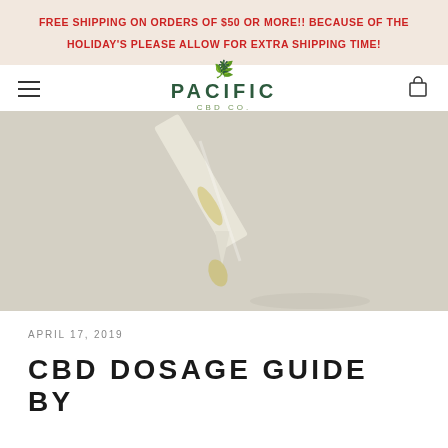FREE SHIPPING ON ORDERS OF $50 OR MORE!! BECAUSE OF THE HOLIDAY'S PLEASE ALLOW FOR EXTRA SHIPPING TIME!
[Figure (logo): Pacific CBD Co. logo with cannabis leaf icon above stylized text PACIFIC CBD CO.]
[Figure (photo): Close-up product photo of a dropper/pipette with golden oil dripping, on a light beige background]
APRIL 17, 2019
CBD DOSAGE GUIDE BY